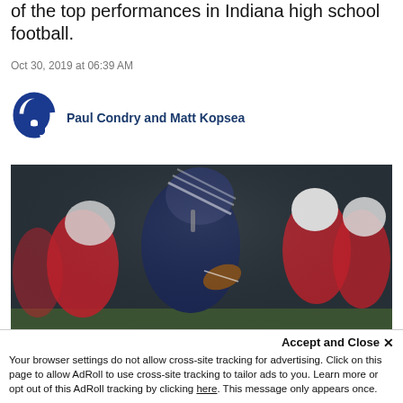of the top performances in Indiana high school football.
Oct 30, 2019 at 06:39 AM
Paul Condry and Matt Kopsea
[Figure (photo): Football player in dark navy uniform with striped helmet carrying the ball, surrounded by players in red and white uniforms on an indoor football field.]
Accept and Close ✕
Your browser settings do not allow cross-site tracking for advertising. Click on this page to allow AdRoll to use cross-site tracking to tailor ads to you. Learn more or opt out of this AdRoll tracking by clicking here. This message only appears once.